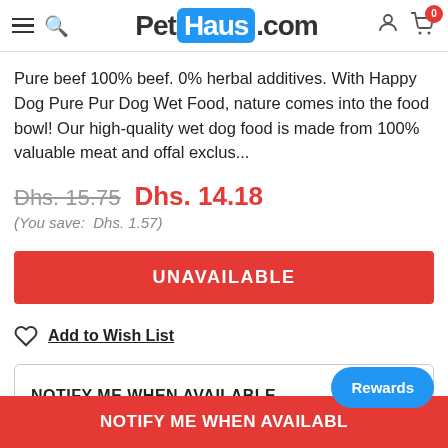PetHaus.com — navigation header with hamburger menu, search, logo, user icon, cart (0)
Pure beef 100% beef. 0% herbal additives. With Happy Dog Pure Pur Dog Wet Food, nature comes into the food bowl! Our high-quality wet dog food is made from 100% valuable meat and offal exclus...
Dhs. 15.75  Dhs. 14.18
(You save:  Dhs. 1.57)
UNAVAILABLE
Add to Wish List
NOTIFY ME WHEN AVAILABLE
5 custom
NOTIFY ME WHEN AVAILABLE
Rewards